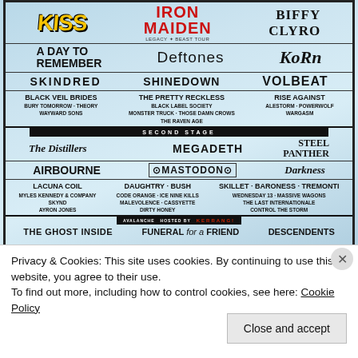[Figure (other): Download Festival lineup poster with light blue background showing band names in various typography styles. Headliners: KISS, Iron Maiden (Legacy of the Beast Tour), Biffy Clyro, A Day to Remember, Deftones, Korn, Skindred, Shinedown, Volbeat. Supporting acts: Black Veil Brides, Bury Tomorrow, Theory, Wayward Sons, The Pretty Reckless, Black Label Society, Monster Truck, Those Damn Crows, The Raven Age, Rise Against, Alestorm, Powerwolf, Wargasm. Second Stage: The Distillers, Megadeth, Steel Panther, Airbourne, Mastodon, Darkness, Lacuna Coil, Myles Kennedy & Company, Skynrd, Ayron Jones, Daughtry, Bush, Code Orange, Ice Nine Kills, Malevolence, Cassyette, Dirty Honey, Skillet, Baroness, Tremonti, Wednesday 13, Massive Wagons, The Last Internationale, Control the Storm. Third stage: The Ghost Inside, Funeral for a Friend, Descendents]
Privacy & Cookies: This site uses cookies. By continuing to use this website, you agree to their use.
To find out more, including how to control cookies, see here: Cookie Policy
Close and accept